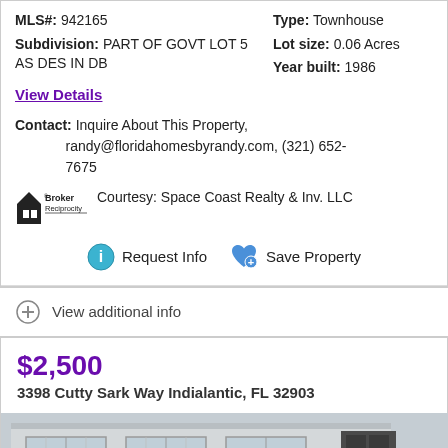MLS#: 942165   Type: Townhouse
Subdivision: PART OF GOVT LOT 5 AS DES IN DB   Lot size: 0.06 Acres   Year built: 1986
View Details
Contact: Inquire About This Property, randy@floridahomesbyrandy.com, (321) 652-7675
[Figure (logo): Broker Reciprocity logo with house icon]
Courtesy: Space Coast Realty & Inv. LLC
Request Info   Save Property
View additional info
$2,500
3398 Cutty Sark Way Indialantic, FL 32903
[Figure (photo): Exterior photo of townhouse showing white facade with windows and dark door]